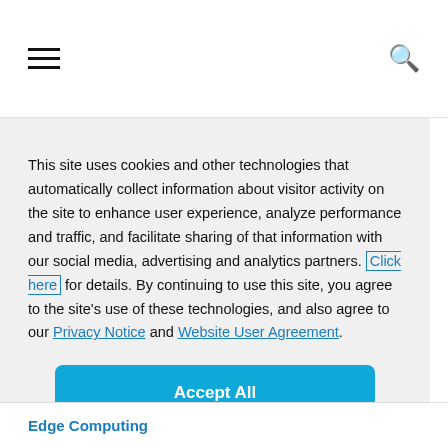[hamburger menu icon] [search icon]
This site uses cookies and other technologies that automatically collect information about visitor activity on the site to enhance user experience, analyze performance and traffic, and facilitate sharing of that information with our social media, advertising and analytics partners. Click here for details. By continuing to use this site, you agree to the site's use of these technologies, and also agree to our Privacy Notice and Website User Agreement.
Accept All
Cookie Settings
Edge Computing